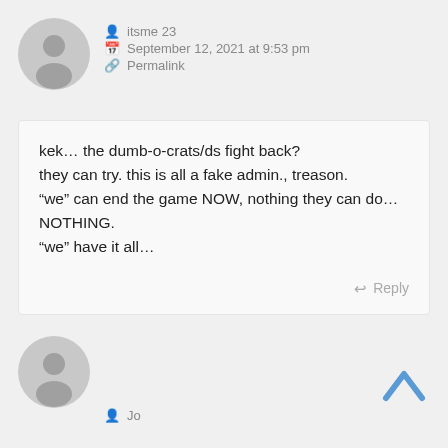[Figure (illustration): Gray default user avatar circle icon for comment by itsme 23]
itsme 23
September 12, 2021 at 9:53 pm
Permalink
kek… the dumb-o-crats/ds fight back?
they can try. this is all a fake admin., treason.
“we” can end the game NOW, nothing they can do…NOTHING.
“we” have it all…
Reply
[Figure (illustration): Gray default user avatar circle icon for second commenter Jo]
Jo